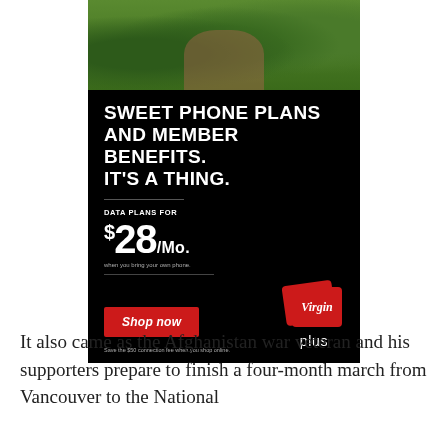[Figure (photo): Advertisement for Virgin Plus: photo of a person lying on grass holding a phone, followed by promotional text on black background: 'SWEET PHONE PLANS AND MEMBER BENEFITS. IT'S A THING.' Data plans for $28/mo. with 'Shop now' button and Virgin Plus logo. Save the $50 connection fee when you shop online.]
It also came as the Afghanistan war veteran and his supporters prepare to finish a four-month march from Vancouver to the National